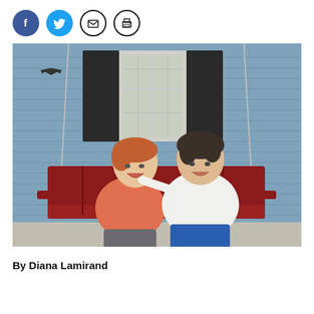[Figure (other): Social media sharing icons: Facebook (blue circle with f), Twitter (blue circle with bird), Email (white circle with envelope), Print (white circle with printer)]
[Figure (photo): Two older women sitting on a red porch swing in front of a blue house with black shutters and a white-framed window. The woman on the left wears a coral/salmon top and has short reddish hair, laughing. The woman on the right wears a white cardigan over a patterned shirt, with short dark curly hair, smiling. The woman on the right has her arm around the woman on the left.]
By Diana Lamirand